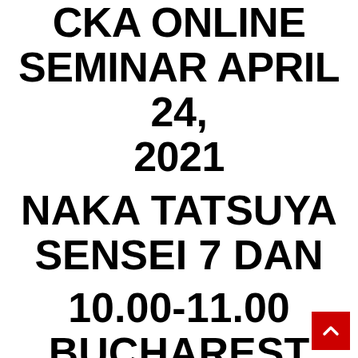CKA ONLINE SEMINAR APRIL 24, 2021
NAKA TATSUYA SENSEI 7 DAN
10.00-11.00 BUCHAREST TIME
ACCOUNT BANK TRANSILVANIA, TIMISOARA, STR. CALEA